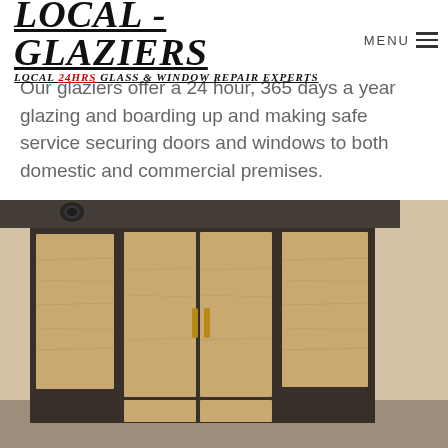LOCAL - GLAZIERS | LOCAL 24HRS GLASS & WINDOW REPAIR EXPERTS | MENU
Our glaziers offer a 24 hour, 365 days a year glazing and boarding up and making safe service securing doors and windows to both domestic and commercial premises.
[Figure (photo): A building storefront with wooden boards covering the glass doors and windows, suggesting emergency boarding up service. The boards are light brown/tan colored plywood panels fitted into dark metal-framed door and window openings on a beige/stone-clad commercial building facade.]